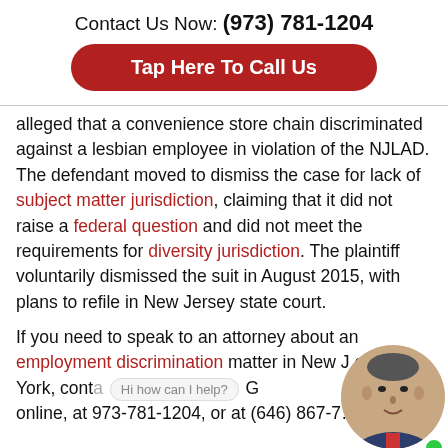Contact Us Now: (973) 781-1204
Tap Here To Call Us
alleged that a convenience store chain discriminated against a lesbian employee in violation of the NJLAD. The defendant moved to dismiss the case for lack of subject matter jurisdiction, claiming that it did not raise a federal question and did not meet the requirements for diversity jurisdiction. The plaintiff voluntarily dismissed the suit in August 2015, with plans to refile in New Jersey state court.
If you need to speak to an attorney about an employment discrimination matter in New Jersey or New York, contact Gr online, at 973-781-1204, or at (646) 867-7...